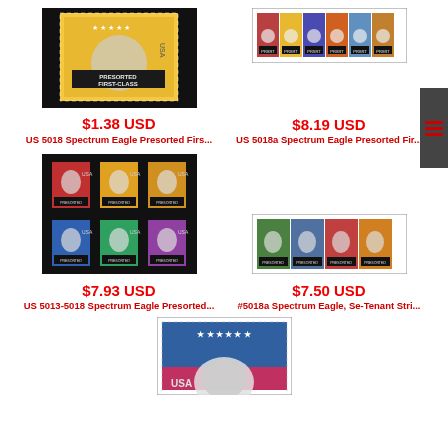[Figure (photo): US 5018 Spectrum Eagle Presorted First-Class stamp - single stamp on black background]
$1.38 USD
US 5018 Spectrum Eagle Presorted Firs...
[Figure (photo): US 5018a Spectrum Eagle Presorted First-Class stamps - strip of stamps]
$8.19 USD
US 5018a Spectrum Eagle Presorted Fir...
[Figure (photo): US 5013-5018 Spectrum Eagle Presorted stamps - set of 6 stamps on black background]
$7.93 USD
US 5013-5018 Spectrum Eagle Presorted...
[Figure (photo): #5018a Spectrum Eagle Se-Tenant strip of stamps]
$7.50 USD
#5018a Spectrum Eagle, Se-Tenant Stri...
[Figure (photo): Single Spectrum Eagle stamp - blue and pink colors with eagle head]